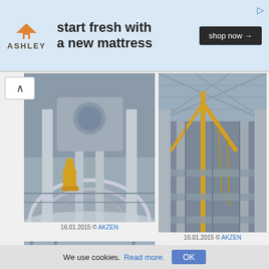[Figure (infographic): Ashley Furniture advertisement banner: orange house logo, 'start fresh with a new mattress' tagline, 'shop now →' button]
[Figure (photo): Construction interior of a large arena/stadium showing scaffolding, a yellow lift platform, and curved architectural structure. Date: 16.01.2015 © AKZEN]
[Figure (photo): Construction interior of a stadium showing a large yellow crane inside under a skeletal roof structure. Date: 16.01.2015 © AKZEN]
[Figure (photo): Construction site showing concrete floor slabs with red railings and steel scaffolding. Date: 16.01.2015 © AKZEN]
[Figure (photo): Interior construction view of arched ceiling with metal cladding panels and scaffolding. Date: 16.01.2015 © AKZEN]
[Figure (photo): Partial view of construction site with red steel truss structure, partially visible.]
[Figure (photo): Partial view of arched construction interior, partially visible.]
We use cookies. Read more.
OK